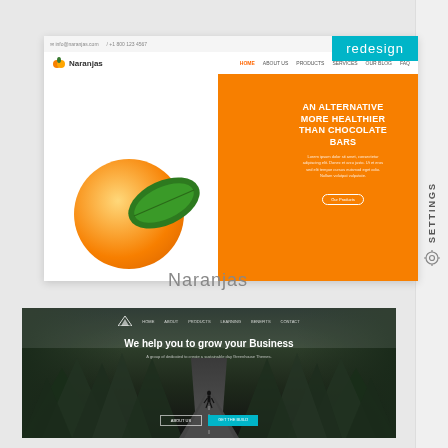[Figure (screenshot): Screenshot of 'Naranjas' website redesign showing a navigation bar with logo, orange hero section with text 'AN ALTERNATIVE MORE HEALTHIER THAN CHOCOLATE BARS', an orange fruit image on white background, and a teal 'redesign' badge in the top right corner.]
Naranjas
[Figure (screenshot): Screenshot of a business website with a dark forest/road background image, navigation links at top, headline 'We help you to grow your Business', subtext, and two CTA buttons at the bottom.]